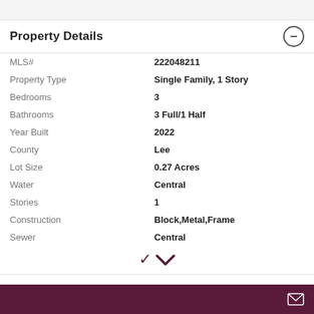Property Details
| Field | Value |
| --- | --- |
| MLS# | 222048211 |
| Property Type | Single Family, 1 Story |
| Bedrooms | 3 |
| Bathrooms | 3 Full/1 Half |
| Year Built | 2022 |
| County | Lee |
| Lot Size | 0.27 Acres |
| Water | Central |
| Stories | 1 |
| Construction | Block,Metal,Frame |
| Sewer | Central |
Email contact footer bar